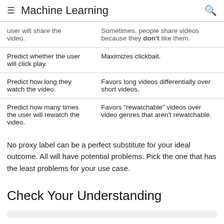Machine Learning
| Proxy Label | Problem |
| --- | --- |
| user will share the video. | Sometimes, people share videos because they don't like them. |
| Predict whether the user will click play. | Maximizes clickbait. |
| Predict how long they watch the video. | Favors long videos differentially over short videos. |
| Predict how many times the user will rewatch the video. | Favors "rewatchable" videos over video genres that aren't rewatchable. |
No proxy label can be a perfect substitute for your ideal outcome. All will have potential problems. Pick the one that has the least problems for your use case.
Check Your Understanding